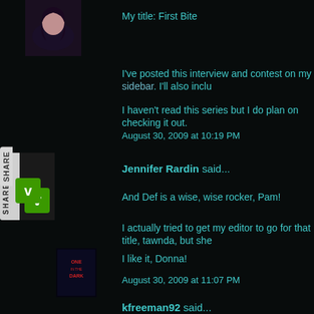My title: First Bite
I've posted this interview and contest on my sidebar. I'll also inclu
I haven't read this series but I do plan on checking it out.
August 30, 2009 at 10:19 PM
Jennifer Rardin said...
And Def is a wise, wise rocker, Pam!
I actually tried to get my editor to go for that title, tawnda, but she
I like it, Donna!
August 30, 2009 at 11:07 PM
kfreeman92 said...
My title: "Grab a Bite"
I linked it to my FB page: http://www.facebook.com/home.php?ref=home#/kfreeman92?ref
August 31, 2009 at 12:00 AM
kfreeman92 said...